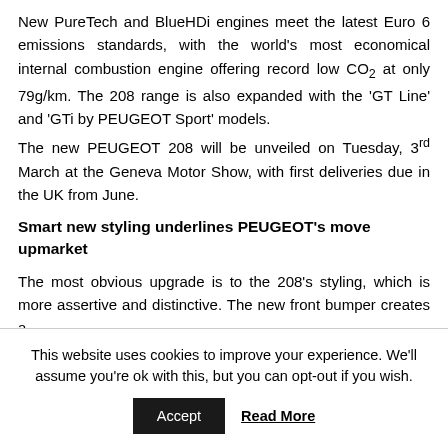New PureTech and BlueHDi engines meet the latest Euro 6 emissions standards, with the world's most economical internal combustion engine offering record low CO₂ at only 79g/km. The 208 range is also expanded with the 'GT Line' and 'GTi by PEUGEOT Sport' models.
The new PEUGEOT 208 will be unveiled on Tuesday, 3rd March at the Geneva Motor Show, with first deliveries due in the UK from June.
Smart new styling underlines PEUGEOT's move upmarket
The most obvious upgrade is to the 208's styling, which is more assertive and distinctive. The new front bumper creates a
This website uses cookies to improve your experience. We'll assume you're ok with this, but you can opt-out if you wish.